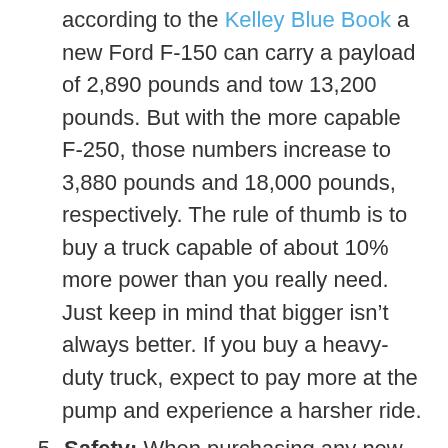according to the Kelley Blue Book a new Ford F-150 can carry a payload of 2,890 pounds and tow 13,200 pounds. But with the more capable F-250, those numbers increase to 3,880 pounds and 18,000 pounds, respectively. The rule of thumb is to buy a truck capable of about 10% more power than you really need. Just keep in mind that bigger isn't always better. If you buy a heavy-duty truck, expect to pay more at the pump and experience a harsher ride.
Safety: When purchasing any new vehicle, safety ratings are always an important consideration. Be sure to do some research before driving your new truck off the lot. The Insurance Institute for Highway Safety (IIHS) conducts crash tests and other safety